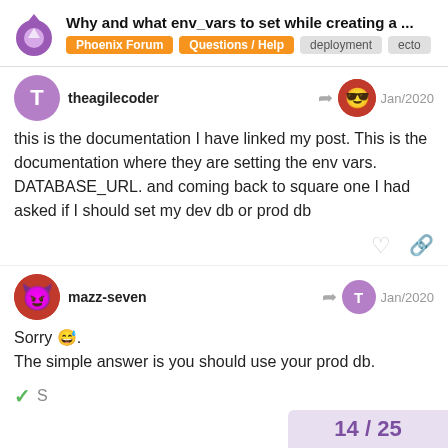Why and what env_vars to set while creating a ... | Phoenix Forum | Questions / Help | deployment | ecto
theagilecoder Jan/2020
this is the documentation I have linked my post. This is the documentation where they are setting the env vars. DATABASE_URL. and coming back to square one I had asked if I should set my dev db or prod db
mazz-seven Jan/2020
Sorry 😅. The simple answer is you should use your prod db.
14 / 25